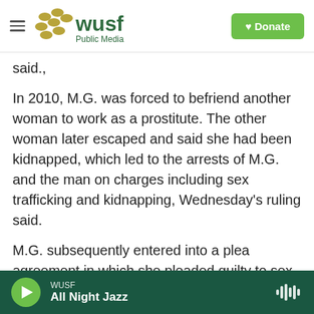WUSF Public Media — Donate
said.,
In 2010, M.G. was forced to befriend another woman to work as a prostitute. The other woman later escaped and said she had been kidnapped, which led to the arrests of M.G. and the man on charges including sex trafficking and kidnapping, Wednesday's ruling said.
M.G. subsequently entered into a plea agreement in which she pleaded guilty to sex-trafficking and prostitution charges, while prosecutors did not move forward with the kidnapping charge. After
WUSF — All Night Jazz